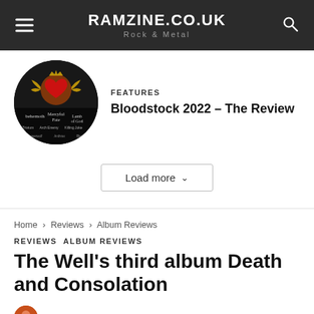RAMZINE.CO.UK
Rock & Metal
[Figure (photo): Circular thumbnail image for Bloodstock 2022 festival review showing festival poster with bands listed including Behemoth, Mercyful Fate, and Lamb of God]
FEATURES
Bloodstock 2022 – The Review
Load more
Home › Reviews › Album Reviews
REVIEWS  ALBUM REVIEWS
The Well's third album Death and Consolation